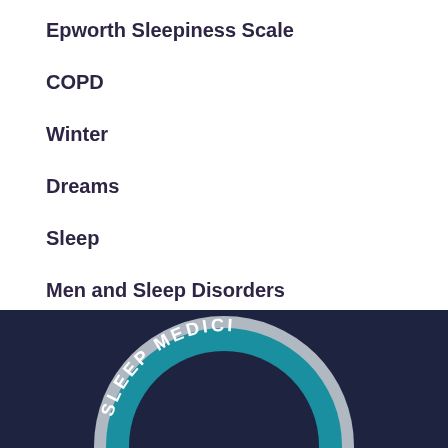Epworth Sleepiness Scale
COPD
Winter
Dreams
Sleep
Men and Sleep Disorders
[Figure (logo): Sleep Medicine circular logo badge with teal and silver coloring on dark navy background, partially visible at bottom of page]